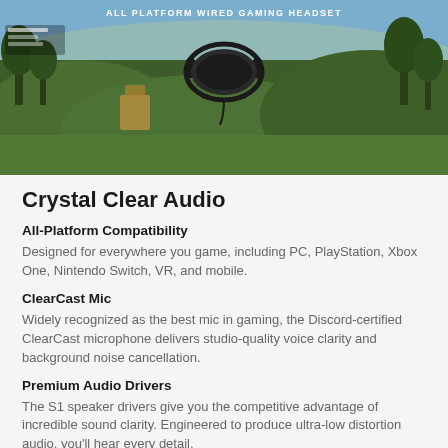[Figure (photo): Gaming headset product image shown over a video game landscape scene (green hills, trees) with text 'ALL PLATFORM WIRED GAMING HEADSET' at the top]
Crystal Clear Audio
All-Platform Compatibility
Designed for everywhere you game, including PC, PlayStation, Xbox One, Nintendo Switch, VR, and mobile.
ClearCast Mic
Widely recognized as the best mic in gaming, the Discord-certified ClearCast microphone delivers studio-quality voice clarity and background noise cancellation.
Premium Audio Drivers
The S1 speaker drivers give you the competitive advantage of incredible sound clarity. Engineered to produce ultra-low distortion audio, you'll hear every detail.
Athletic Inspired Performance